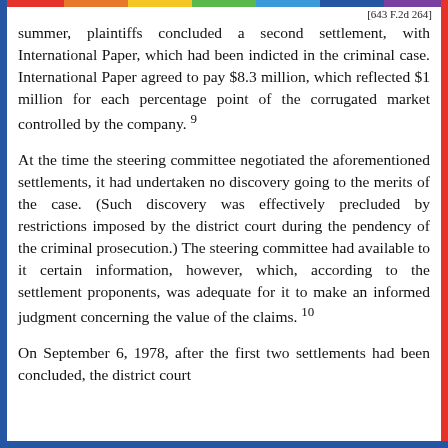[643 F.2d 264]
summer, plaintiffs concluded a second settlement, with International Paper, which had been indicted in the criminal case. International Paper agreed to pay $8.3 million, which reflected $1 million for each percentage point of the corrugated market controlled by the company. 9
At the time the steering committee negotiated the aforementioned settlements, it had undertaken no discovery going to the merits of the case. (Such discovery was effectively precluded by restrictions imposed by the district court during the pendency of the criminal prosecution.) The steering committee had available to it certain information, however, which, according to the settlement proponents, was adequate for it to make an informed judgment concerning the value of the claims. 10
On September 6, 1978, after the first two settlements had been concluded, the district court